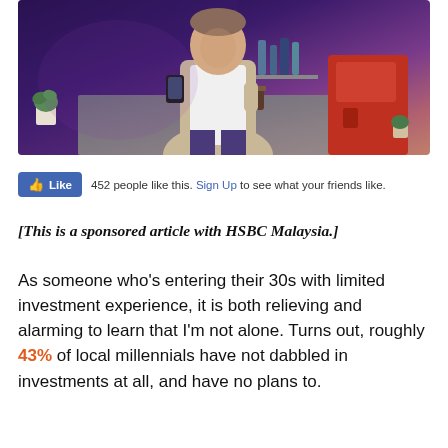[Figure (photo): A person standing in a café/bar setting with purple and blue ambient lighting, holding a coffee cup and a smartphone. Background shows shelves with bottles and a red espresso machine.]
👍 Like  452 people like this. Sign Up to see what your friends like.
[This is a sponsored article with HSBC Malaysia.]
As someone who's entering their 30s with limited investment experience, it is both relieving and alarming to learn that I'm not alone. Turns out, roughly 43% of local millennials have not dabbled in investments at all, and have no plans to.